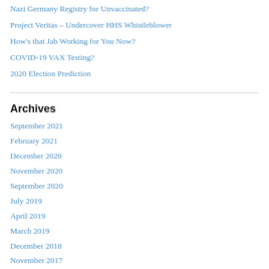Nazi Germany Registry for Unvaccinated?
Project Veritas – Undercover HHS Whistleblower
How's that Jab Working for You Now?
COVID-19 VAX Testing?
2020 Election Prediction
Archives
September 2021
February 2021
December 2020
November 2020
September 2020
July 2019
April 2019
March 2019
December 2018
November 2017
March 2017